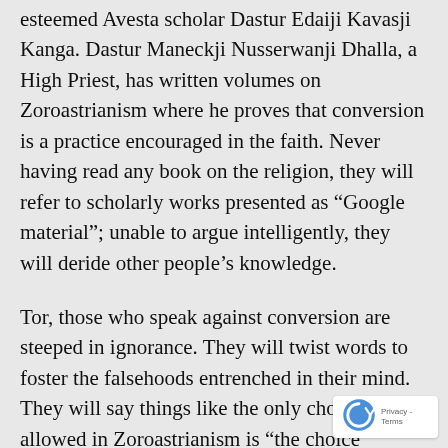esteemed Avesta scholar Dastur Edaiji Kavasji Kanga. Dastur Maneckji Nusserwanji Dhalla, a High Priest, has written volumes on Zoroastrianism where he proves that conversion is a practice encouraged in the faith. Never having read any book on the religion, they will refer to scholarly works presented as “Google material”; unable to argue intelligently, they will deride other people’s knowledge.
Tor, those who speak against conversion are steeped in ignorance. They will twist words to foster the falsehoods entrenched in their mind. They will say things like the only choice allowed in Zoroastrianism is “the choice between good and evil” without producing any evidence to